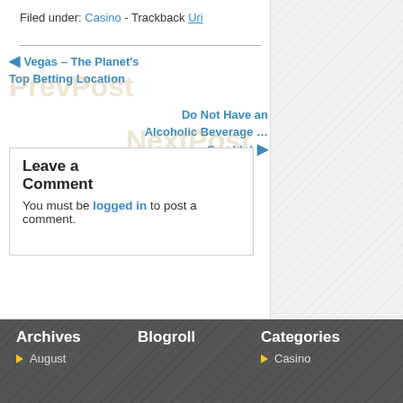Filed under: Casino - Trackback Uri
Vegas – The Planet's Top Betting Location
Do Not Have an Alcoholic Beverage … Gamble!
Leave a Comment
You must be logged in to post a comment.
Archives
August
Blogroll
Categories
Casino